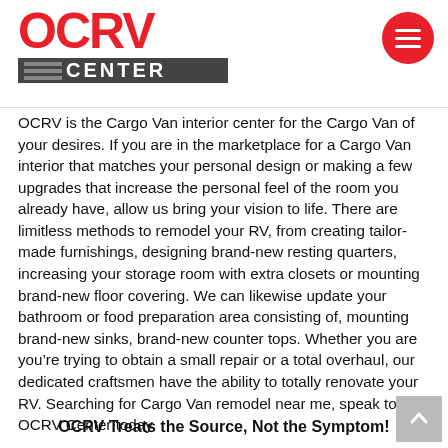OCRV CENTER logo and navigation
OCRV is the Cargo Van interior center for the Cargo Van of your desires. If you are in the marketplace for a Cargo Van interior that matches your personal design or making a few upgrades that increase the personal feel of the room you already have, allow us bring your vision to life. There are limitless methods to remodel your RV, from creating tailor-made furnishings, designing brand-new resting quarters, increasing your storage room with extra closets or mounting brand-new floor covering. We can likewise update your bathroom or food preparation area consisting of, mounting brand-new sinks, brand-new counter tops. Whether you are you’re trying to obtain a small repair or a total overhaul, our dedicated craftsmen have the ability to totally renovate your RV. Searching for Cargo Van remodel near me, speak to OCRV Center today.
OCRV Treats the Source, Not the Symptom!